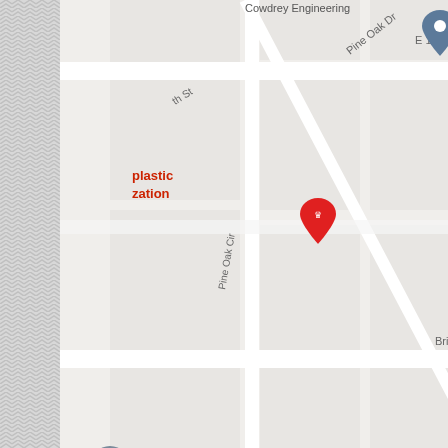[Figure (map): Google Maps screenshot showing street map with labels: Cowdrey Engineering, E 11th St, Pine Oak Dr, Pine Oak Cir, Mockingbird Ln, Briarwood Dr, BancFirst (with dollar sign marker), Pelican Bay Aquatic Center (with green pin), a red location marker, and a gray location marker. Green park area visible in top right.]
POSTED IN DIGITAL MARKETING | TAGGED INTERNET MARKETING, SEO A...
← Digital Marketing Companies – How To Hire The Best
Why Is...